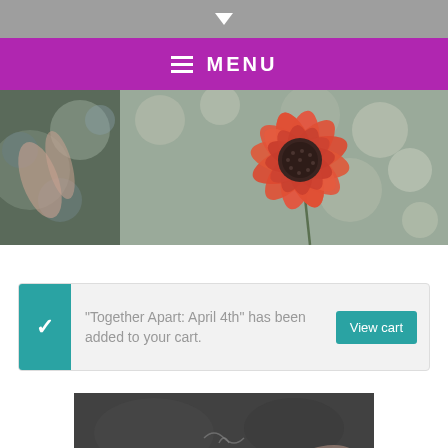▼
≡ MENU
[Figure (photo): A vibrant red/orange flower (dahlia or poppy) in the center against a blurred bokeh background with warm tones.]
“Together Apart: April 4th” has been added to your cart.
[Figure (photo): Partial view of a person wearing a dark (charcoal/black) shirt, photographed from the chest down.]